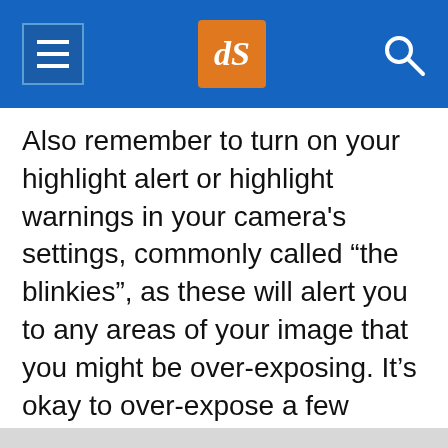dPS navigation header
Also remember to turn on your highlight alert or highlight warnings in your camera's settings, commonly called “the blinkies”, as these will alert you to any areas of your image that you might be over-exposing. It’s okay to over-expose a few specular highlights, but try not to over-expose large areas of your image, especially on your main subject, or the detail in those areas will be lost, and cannot be recovered on a computer later.